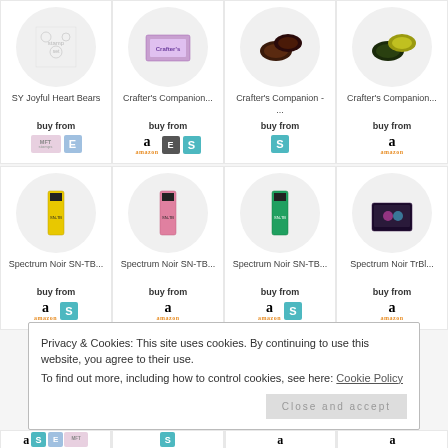[Figure (other): Product grid showing crafting supplies: SY Joyful Heart Bears stamp set, Crafter's Companion products (ink pads/boxes), and Spectrum Noir SN-TB and TrBl marker sets. Each product has an image in a circular frame, name text, 'buy from' label, and retailer badges (Amazon, Spectrum Noir S, Ecklectic E, MFT).]
Privacy & Cookies: This site uses cookies. By continuing to use this website, you agree to their use.
To find out more, including how to control cookies, see here: Cookie Policy
Close and accept